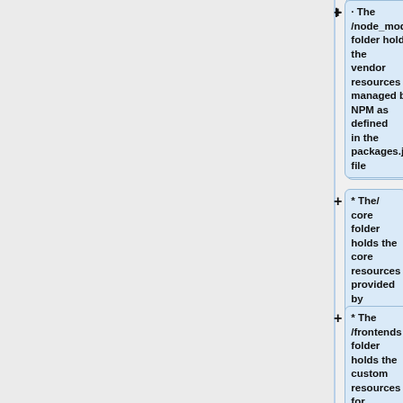* The /node_modules folder holds the vendor resources managed by NPM as defined in the packages.json file
* The/ core folder holds the core resources provided by ark2
* The /frontends folder holds the custom resources for the various integrated frontends